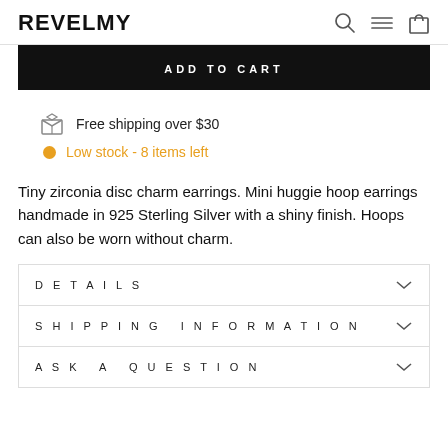REVELMY
ADD TO CART
Free shipping over $30
Low stock - 8 items left
Tiny zirconia disc charm earrings. Mini huggie hoop earrings handmade in 925 Sterling Silver with a shiny finish. Hoops can also be worn without charm.
DETAILS
SHIPPING INFORMATION
ASK A QUESTION